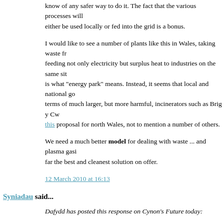know of any safer way to do it. The fact that the various processes will either be used locally or fed into the grid is a bonus.
I would like to see a number of plants like this in Wales, taking waste fr... feeding not only electricity but surplus heat to industries on the same sit... is what "energy park" means. Instead, it seems that local and national go... terms of much larger, but more harmful, incinerators such as Brig y Cw... this proposal for north Wales, not to mention a number of others.
We need a much better model for dealing with waste ... and plasma gasi... far the best and cleanest solution on offer.
12 March 2010 at 16:13
Syniadau said...
Dafydd has posted this response on Cynon's Future today:
Enviroparks - the Hirwaun Advanced Incinerator
My previous posts on the 'Enviroparks' development in Hirwaun led to... particularly on the Syniadau Blog and on twitter. I found myself in the r... disagreeing with a number of people I normally agree with 100%. In res... detailed post of my views as to the problems with the plans in Hirwaun.
Let's kick off with a more general point about waste management. We c... much waste as a society. There are examples of countries across Euro...